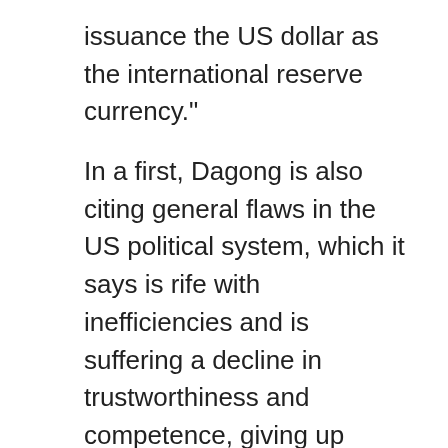issuance the US dollar as the international reserve currency."
In a first, Dagong is also citing general flaws in the US political system, which it says is rife with inefficiencies and is suffering a decline in trustworthiness and competence, giving up these qualities to satisfy factional interests.
Dagong, established in 1994, with special permits from financial regulators, maintain a pessimistic view on the effects of Trump's tax cuts, saying they will fail to attack the root cause of the unsustainable debt-driven economy of the US, instead only exacerbating the current risk as the fiscal